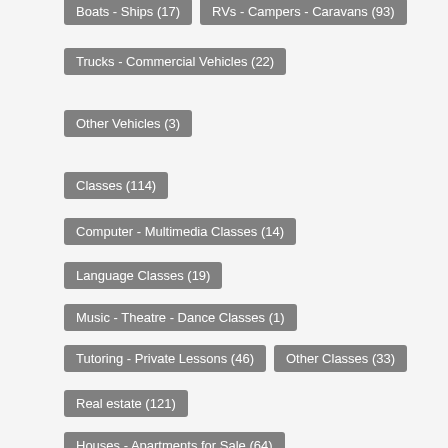Boats - Ships (17)
RVs - Campers - Caravans (93)
Trucks - Commercial Vehicles (22)
Other Vehicles (3)
Classes (114)
Computer - Multimedia Classes (14)
Language Classes (19)
Music - Theatre - Dance Classes (1)
Tutoring - Private Lessons (46)
Other Classes (33)
Real estate (121)
Houses - Apartments for Sale (64)
Houses - Apartments for Rent (3)
Rooms for Rent - Shared (1)